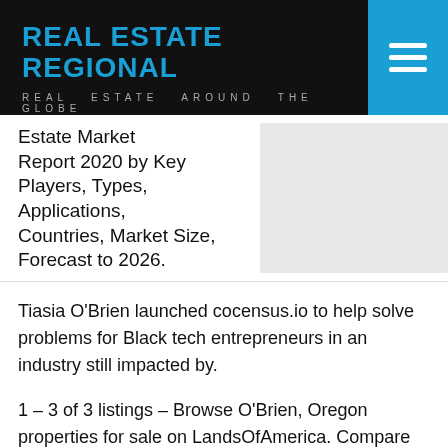REAL ESTATE REGIONAL
REAL ESTATE AROUND THE GLOBE
Estate Market Report 2020 by Key Players, Types, Applications, Countries, Market Size, Forecast to 2026.
Tiasia O'Brien launched cocensus.io to help solve problems for Black tech entrepreneurs in an industry still impacted by.
1 – 3 of 3 listings – Browse O'Brien, Oregon properties for sale on LandsOfAmerica. Compare properties, browse amenities and find your ideal property in O'Brien.
↑
View 125 homes for sale in OBrien, OR at a median